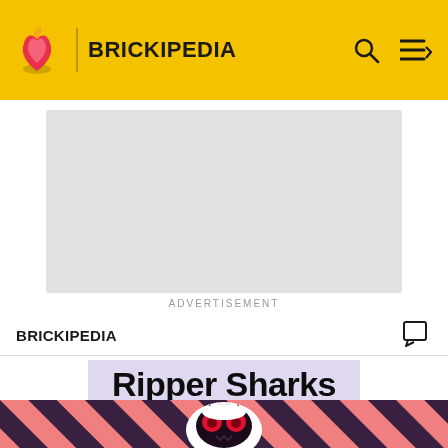BRICKIPEDIA
[Figure (other): Advertisement placeholder box]
ADVERTISEMENT
BRICKIPEDIA
Ripper Sharks
[Figure (photo): Diagonal pink and dark purple striped background with a cartoon shark character with red eyes and horns]